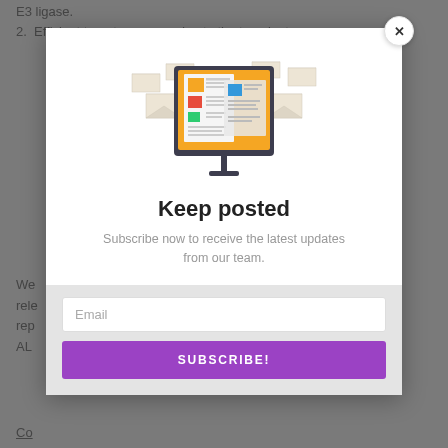E3 ligase.
2. Efficient target coverage due to the transient
[Figure (illustration): Newsletter/subscription illustration: a computer monitor with an orange background displaying newspaper/document pages, surrounded by flying envelope icons in beige/white]
Keep posted
Subscribe now to receive the latest updates from our team.
We... rele... nd rep... of ALL
Co...
Email
SUBSCRIBE!